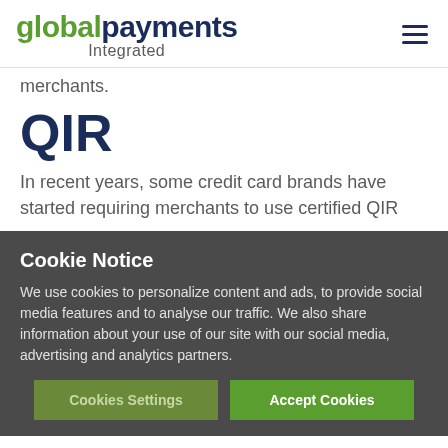global payments Integrated
merchants.
QIR
In recent years, some credit card brands have started requiring merchants to use certified QIR
Cookie Notice
We use cookies to personalize content and ads, to provide social media features and to analyse our traffic. We also share information about your use of our site with our social media, advertising and analytics partners.
Cookies Settings | Accept Cookies